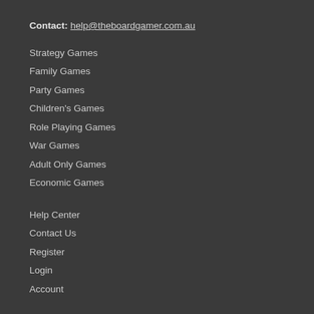Contact: help@theboardgamer.com.au
Strategy Games
Family Games
Party Games
Children's Games
Role Playing Games
War Games
Adult Only Games
Economic Games
Help Center
Contact Us
Register
Login
Account